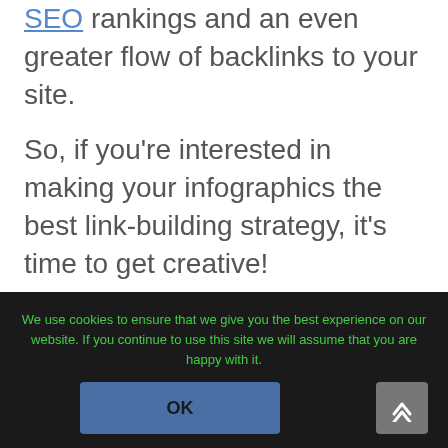SEO rankings and an even greater flow of backlinks to your site.
So, if you're interested in making your infographics the best link-building strategy, it's time to get creative!
And don't forget to include a social sharing button for them to share it.
We use cookies to ensure that we give you the best experience on our website. If you continue to use this site we will assume that you are happy with it.